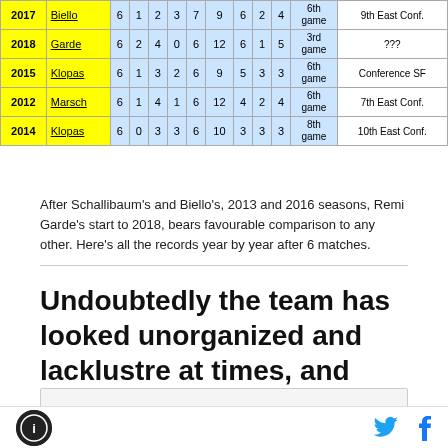| Year | Coach | GP | W | D | L | GF | GA | GD | Pts | Game | Result |
| --- | --- | --- | --- | --- | --- | --- | --- | --- | --- | --- | --- |
| 2017 | Biello | 6 | 1 | 2 | 3 | 7 | 9 | 6 | 2 | 4 | 6th game | 9th East Conf. |
| 2018 | Garde | 6 | 2 | 4 | 0 | 6 | 12 | 6 | 1 | 5 | 3rd game | ??? |
| 2015 | Klopas | 6 | 1 | 3 | 2 | 6 | 9 | 5 | 3 | 3 | 6th game | Conference SF |
| 2012 | Marsch | 6 | 1 | 4 | 1 | 6 | 12 | 4 | 2 | 4 | 6th game | 7th East Conf. |
| 2014 | Klopas | 6 | 0 | 3 | 3 | 6 | 10 | 3 | 3 | 3 | 8th game | 10th East Conf. |
After Schallibaum's and Biello's, 2013 and 2016 seasons, Remi Garde's start to 2018, bears favourable comparison to any other. Here's all the records year by year after 6 matches.
Undoubtedly the team has looked unorganized and lacklustre at times, and played poorly, particularly in New York, Foxborough and during the first-half in Columbus, but is that so surprising given all the changes?
AD